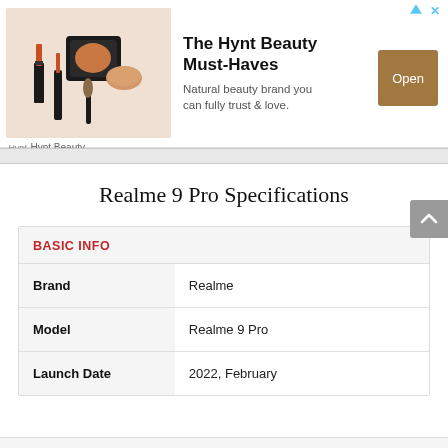[Figure (infographic): Advertisement banner for Hynt Beauty showing makeup products photo, title 'The Hynt Beauty Must-Haves', description 'Natural beauty brand you can fully trust & love.', and an Open button. Footer shows Hynt Beauty brand name.]
Realme 9 Pro Specifications
|  |  |
| --- | --- |
| BASIC INFO |  |
| Brand | Realme |
| Model | Realme 9 Pro |
| Launch Date | 2022, February |